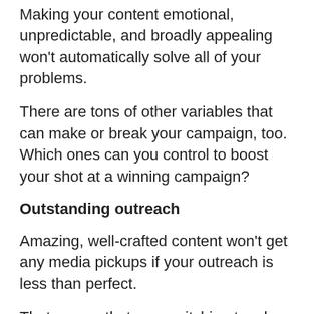Making your content emotional, unpredictable, and broadly appealing won't automatically solve all of your problems.
There are tons of other variables that can make or break your campaign, too. Which ones can you control to boost your shot at a winning campaign?
Outstanding outreach
Amazing, well-crafted content won't get any media pickups if your outreach is less than perfect.
That means that mass pitching to a long list of different publishers isn't the best idea.
Instead, you need to choose the correct targets for outreach. Pick publishers that will actually be interested in publishing stories about your campaign topic…